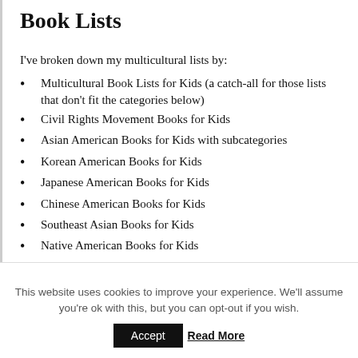Book Lists
I've broken down my multicultural lists by:
Multicultural Book Lists for Kids (a catch-all for those lists that don't fit the categories below)
Civil Rights Movement Books for Kids
Asian American Books for Kids with subcategories
Korean American Books for Kids
Japanese American Books for Kids
Chinese American Books for Kids
Southeast Asian Books for Kids
Native American Books for Kids
Hispanic American Books for Kids
Arab American Books for Kids
LGBTQ Books for Kids
This website uses cookies to improve your experience. We'll assume you're ok with this, but you can opt-out if you wish.